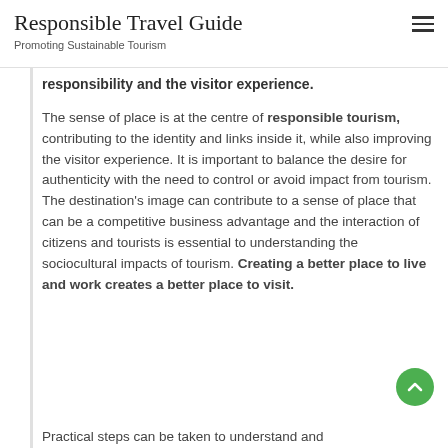Responsible Travel Guide — Promoting Sustainable Tourism
responsibility and the visitor experience.
The sense of place is at the centre of responsible tourism, contributing to the identity and links inside it, while also improving the visitor experience. It is important to balance the desire for authenticity with the need to control or avoid impact from tourism. The destination's image can contribute to a sense of place that can be a competitive business advantage and the interaction of citizens and tourists is essential to understanding the sociocultural impacts of tourism. Creating a better place to live and work creates a better place to visit.
Practical steps can be taken to understand and